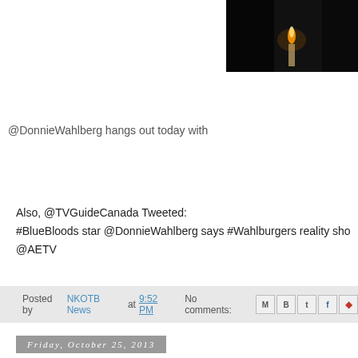[Figure (photo): Dark photo cropped at top right, appears to show a candle or flame against a black background]
@DonnieWahlberg hangs out today with
Also, @TVGuideCanada Tweeted:
#BlueBloods star @DonnieWahlberg says #Wahlburgers reality sho...
@AETV
Posted by NKOTB News at 9:52 PM   No comments:
Friday, October 25, 2013
Donnie Wahlberg on "Watch What Happe...
Donnie and Jenny will be appearing on "Watch What Happens Live"
on Bravo.
Posted by NKOTB News at 6:52 AM   No comments: